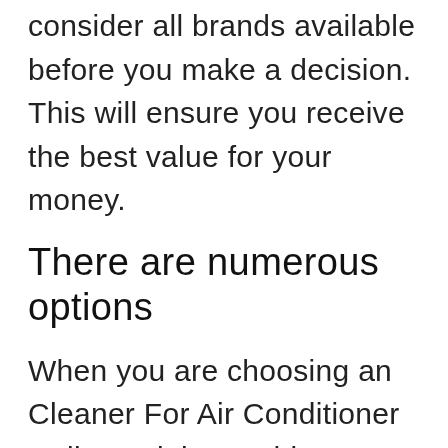consider all brands available before you make a decision. This will ensure you receive the best value for your money.
There are numerous options
When you are choosing an Cleaner For Air Conditioner Coils model, one thing to consider is whether you will require any additional features. Some products only provide the basics, but others include a wide range of options. It is possible that you will require additional features. Take note of